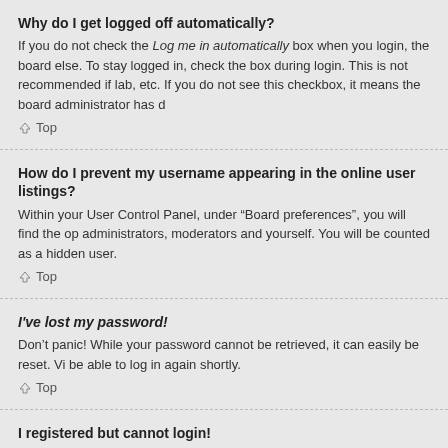Why do I get logged off automatically?
If you do not check the Log me in automatically box when you login, the board else. To stay logged in, check the box during login. This is not recommended if lab, etc. If you do not see this checkbox, it means the board administrator has d
Top
How do I prevent my username appearing in the online user listings?
Within your User Control Panel, under “Board preferences”, you will find the op administrators, moderators and yourself. You will be counted as a hidden user.
Top
I've lost my password!
Don’t panic! While your password cannot be retrieved, it can easily be reset. Vi be able to log in again shortly.
Top
I registered but cannot login!
First, check your username and password. If they are correct, then one of two m years old during registration, you will have to follow the instructions you receive administrator before you can logon; this information was present during registra may have provided an incorrect e-mail address or the e-mail may have been p contacting an administrator.
Top